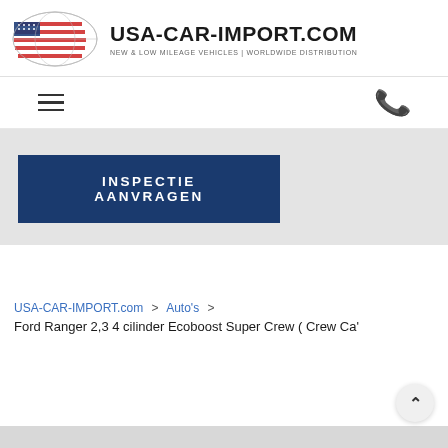[Figure (logo): USA-CAR-IMPORT.COM logo with stylized world map overlaid with US flag colors (red, white, blue), alongside brand name and tagline]
USA-CAR-IMPORT.COM
NEW & LOW MILEAGE VEHICLES | WORLDWIDE DISTRIBUTION
[Figure (infographic): Navigation bar with hamburger menu icon (three horizontal lines) on the left and a phone icon on the right]
INSPECTIE AANVRAGEN
USA-CAR-IMPORT.com  >  Auto's  >
Ford Ranger 2,3 4 cilinder Ecoboost Super Crew ( Crew Ca'